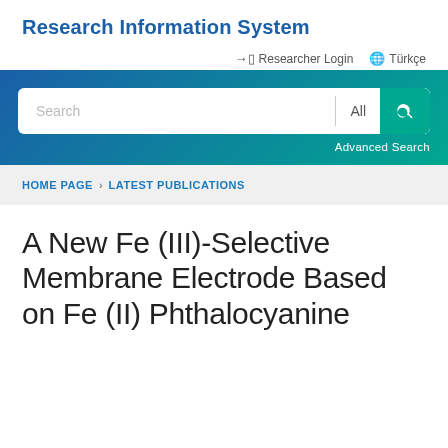Research Information System
Researcher Login  Türkçe
[Figure (screenshot): Search bar with 'Search' placeholder, 'All' dropdown, and green search button, on a blue-to-teal gradient background. Below: 'Advanced Search' link.]
HOME PAGE > LATEST PUBLICATIONS
A New Fe (III)-Selective Membrane Electrode Based on Fe (II) Phthalocyanine